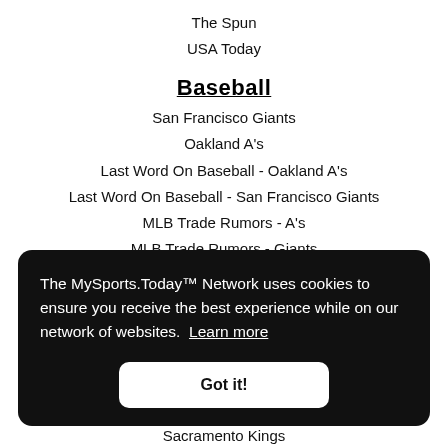The Spun
USA Today
Baseball
San Francisco Giants
Oakland A's
Last Word On Baseball - Oakland A's
Last Word On Baseball - San Francisco Giants
MLB Trade Rumors - A's
MLB Trade Rumors - Giants
The MySports.Today™ Network uses cookies to ensure you receive the best experience while on our network of websites. Learn more
Got it!
Sacramento Kings